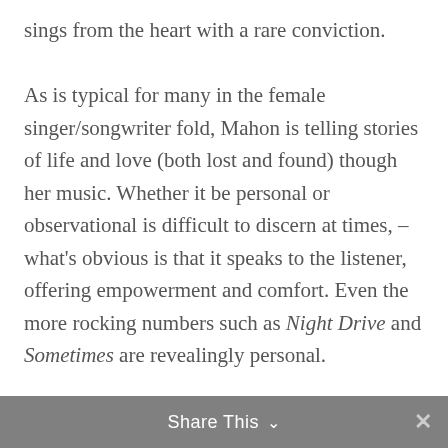sings from the heart with a rare conviction.

As is typical for many in the female singer/songwriter fold, Mahon is telling stories of life and love (both lost and found) though her music. Whether it be personal or observational is difficult to discern at times, – what's obvious is that it speaks to the listener, offering empowerment and comfort. Even the more rocking numbers such as Night Drive and Sometimes are revealingly personal.

A wide array of notable performers from the region made various contributions to SEAMLESS including: Pat Koch and Eric Steinberg of Big White Undies, Mindwalk's Ali Cheree (bass) and
Share This ∨  ✕